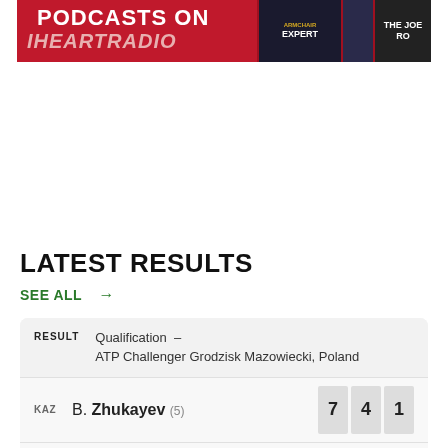[Figure (photo): Banner advertisement for iHeartRadio podcasts featuring red background with podcast show thumbnails including Armchair Expert and The Joe Rogan Experience]
LATEST RESULTS
SEE ALL →
| RESULT | Event | Set 1 | Set 2 | Set 3 |
| --- | --- | --- | --- | --- |
|  | Qualification – ATP Challenger Grodzisk Mazowiecki, Poland |  |  |  |
| KAZ | B. Zhukayev (5) | 7 | 4 | 1 |
|  | (11) |  |  | ✓ |